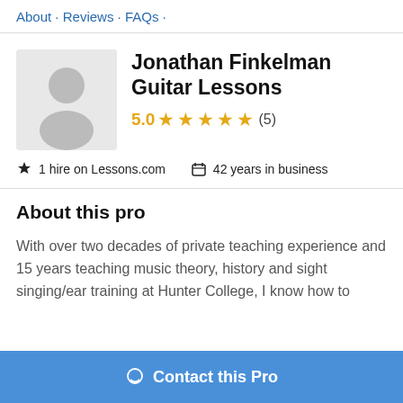About · Reviews · FAQs ·
Jonathan Finkelman Guitar Lessons
5.0 ★★★★★ (5)
1 hire on Lessons.com   42 years in business
About this pro
With over two decades of private teaching experience and 15 years teaching music theory, history and sight singing/ear training at Hunter College, I know how to
Contact this Pro